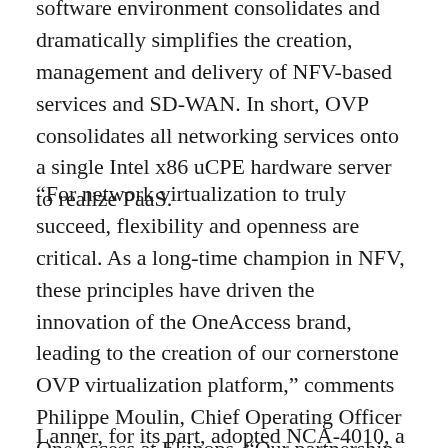software environment consolidates and dramatically simplifies the creation, management and delivery of NFV-based services and SD-WAN. In short, OVP consolidates all networking services onto a single Intel x86 uCPE hardware server to realize PaaS.
“For network virtualization to truly succeed, flexibility and openness are critical. As a long-time champion in NFV, these principles have driven the innovation of the OneAccess brand, leading to the creation of our cornerstone OVP virtualization platform,” comments Philippe Moulin, Chief Operating Officer OneAccess at Ekinops. “Our partnership with Lanner illustrates how great hardware and software can combine to ease the pain of VNF management and service-chaining, empowering CSPs to realize simple, manageable NFV.”
Lanner, for its part, adopted NCA-4010, a carrier-grade network